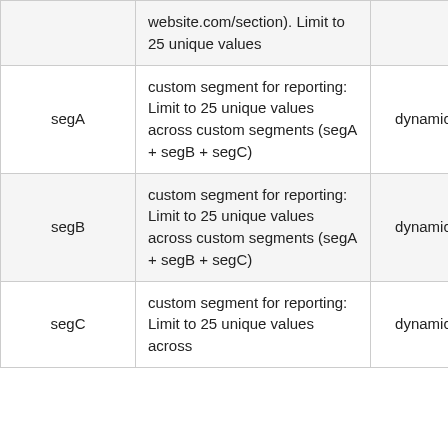|  | website.com/section). Limit to 25 unique values |  |  |  |
| segA | custom segment for reporting: Limit to 25 unique values across custom segments (segA + segB + segC) | dynamic | custom | No |
| segB | custom segment for reporting: Limit to 25 unique values across custom segments (segA + segB + segC) | dynamic | custom | No |
| segC | custom segment for reporting: Limit to 25 unique values across | dynamic | custom | No |